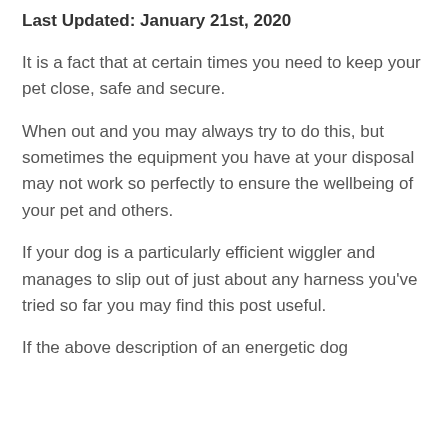Last Updated: January 21st, 2020
It is a fact that at certain times you need to keep your pet close, safe and secure.
When out and you may always try to do this, but sometimes the equipment you have at your disposal may not work so perfectly to ensure the wellbeing of your pet and others.
If your dog is a particularly efficient wiggler and manages to slip out of just about any harness you've tried so far you may find this post useful.
If the above description of an energetic dog